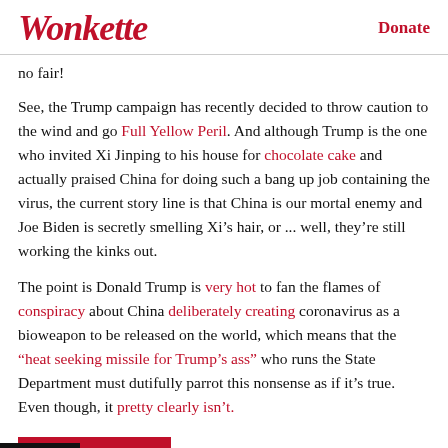Wonkette   Donate
no fair!
See, the Trump campaign has recently decided to throw caution to the wind and go Full Yellow Peril. And although Trump is the one who invited Xi Jinping to his house for chocolate cake and actually praised China for doing such a bang up job containing the virus, the current story line is that China is our mortal enemy and Joe Biden is secretly smelling Xi’s hair, or ... well, they’re still working the kinks out.
The point is Donald Trump is very hot to fan the flames of conspiracy about China deliberately creating coronavirus as a bioweapon to be released on the world, which means that the "heat seeking missile for Trump's ass" who runs the State Department must dutifully parrot this nonsense as if it's true. Even though, it pretty clearly isn't.
KEEP READING...